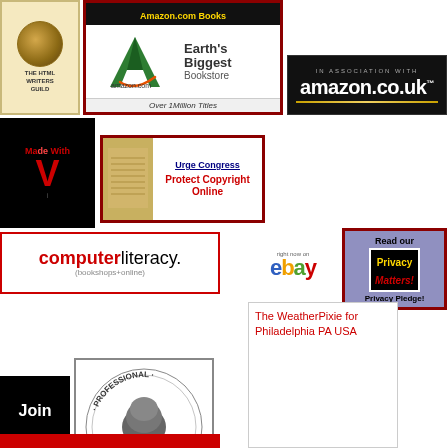[Figure (logo): The HTML Writers Guild badge with globe icon]
[Figure (logo): Amazon.com Books - Earth's Biggest Bookstore - Over 1 Million Titles]
[Figure (logo): In Association With amazon.co.uk]
[Figure (logo): Made with Vim editor badge]
[Figure (logo): Urge Congress - Protect Copyright Online]
[Figure (logo): computerliteracy. (bookshops+online)]
[Figure (logo): right now on eBay]
[Figure (logo): Read our Privacy Matters! Privacy Pledge!]
[Figure (photo): The WeatherPixie for Philadelphia PA USA]
[Figure (logo): Join (black badge)]
[Figure (logo): Professional Certification seal]
[Figure (logo): Red banner at bottom]